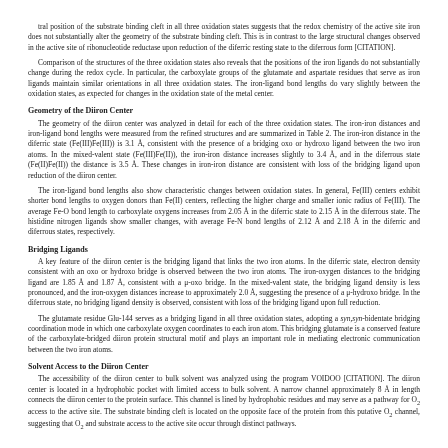tral position of the substrate binding cleft in all three oxidation states suggests that the redox chemistry of the active site iron does not substantially alter the geometry of the substrate binding cleft. This is in contrast to the large structural changes observed in the active site of ribonucleotide reductase upon reduction of the diferric resting state to the diferrous form [CITATION].
Comparison of the structures of the three oxidation states also reveals that the positions of the iron ligands do not substantially change during the redox cycle. In particular, the carboxylate groups of the glutamate and aspartate residues that serve as iron ligands maintain similar orientations in all three oxidation states. The iron-ligand bond lengths do vary slightly between the oxidation states, as expected for changes in the oxidation state of the metal center.
Geometry of the Diiron Center
The geometry of the diiron center was analyzed in detail for each of the three oxidation states. The iron-iron distances and iron-ligand bond lengths were measured from the refined structures and are summarized in Table 2. The iron-iron distance in the diferric state (Fe(III)Fe(III)) is 3.1 Å, consistent with the presence of a bridging oxo or hydroxo ligand between the two iron atoms. In the mixed-valent state (Fe(III)Fe(II)), the iron-iron distance increases slightly to 3.4 Å, and in the diferrous state (Fe(II)Fe(II)) the distance is 3.5 Å. These changes in iron-iron distance are consistent with loss of the bridging ligand upon reduction of the diiron center.
The iron-ligand bond lengths also show characteristic changes between oxidation states. In general, Fe(III) centers exhibit shorter bond lengths to oxygen donors than Fe(II) centers, reflecting the higher charge and smaller ionic radius of Fe(III). The average Fe-O bond length to carboxylate oxygens increases from 2.05 Å in the diferric state to 2.15 Å in the diferrous state. The histidine nitrogen ligands show smaller changes, with average Fe-N bond lengths of 2.12 Å and 2.18 Å in the diferric and diferrous states, respectively.
Bridging Ligands
A key feature of the diiron center is the bridging ligand that links the two iron atoms. In the diferric state, electron density consistent with an oxo or hydroxo bridge is observed between the two iron atoms. The iron-oxygen distances to the bridging ligand are 1.85 Å and 1.87 Å, consistent with a μ-oxo bridge. In the mixed-valent state, the bridging ligand density is less pronounced, and the iron-oxygen distances increase to approximately 2.0 Å, suggesting the presence of a μ-hydroxo bridge. In the diferrous state, no bridging ligand density is observed, consistent with loss of the bridging ligand upon full reduction.
The glutamate residue Glu-144 serves as a bridging ligand in all three oxidation states, adopting a syn,syn-bidentate bridging coordination mode in which one carboxylate oxygen coordinates to each iron atom. This bridging glutamate is a conserved feature of the carboxylate-bridged diiron protein structural motif and plays an important role in mediating electronic communication between the two iron atoms.
Solvent Access to the Diiron Center
The accessibility of the diiron center to bulk solvent was analyzed using the program VOIDOO [CITATION]. The diiron center is located in a hydrophobic pocket with limited access to bulk solvent. A narrow channel approximately 8 Å in length connects the diiron center to the protein surface. This channel is lined by hydrophobic residues and may serve as a pathway for O2 access to the active site. The substrate binding cleft is located on the opposite face of the protein from this putative O2 channel, suggesting that O2 and substrate access to the active site occur through distinct pathways.